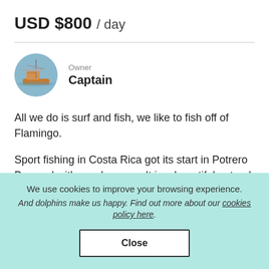USD $800 / day
[Figure (photo): Circular avatar showing a fishing boat on water, used as owner profile photo]
Owner
Captain
All we do is surf and fish, we like to fish off of Flamingo.
Sport fishing in Costa Rica got its start in Potrero Bay and with good reason. It is a beautiful natural harbor,
We use cookies to improve your browsing experience.
And dolphins make us happy. Find out more about our cookies policy here.
Close